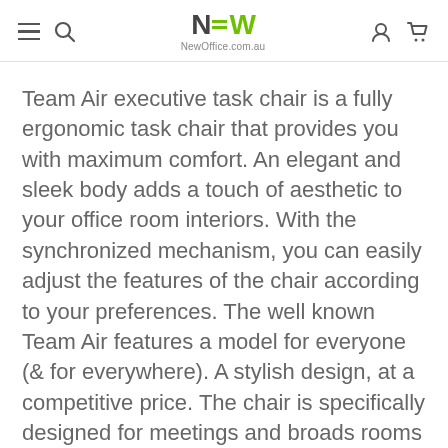NewOffice.com.au
Team Air executive task chair is a fully ergonomic task chair that provides you with maximum comfort. An elegant and sleek body adds a touch of aesthetic to your office room interiors. With the synchronized mechanism, you can easily adjust the features of the chair according to your preferences. The well known Team Air features a model for everyone (& for everywhere). A stylish design, at a competitive price. The chair is specifically designed for meetings and broads rooms glorifying their interior. The team air executive chair has a mesh back which